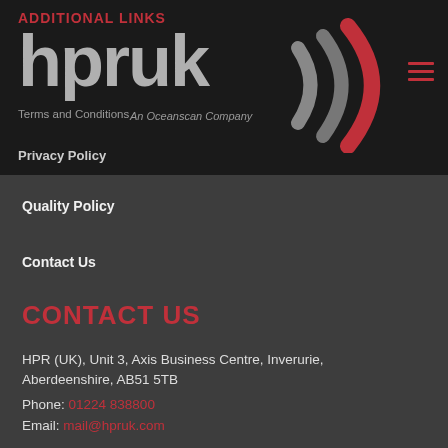ADDITIONAL LINKS
[Figure (logo): hpruk logo with signal wave arcs in grey and red, An Oceanscan Company tagline]
Terms and Conditions
Privacy Policy
Quality Policy
Contact Us
CONTACT US
HPR (UK), Unit 3, Axis Business Centre, Inverurie, Aberdeenshire, AB51 5TB
Phone: 01224 838800
Email: mail@hpruk.com